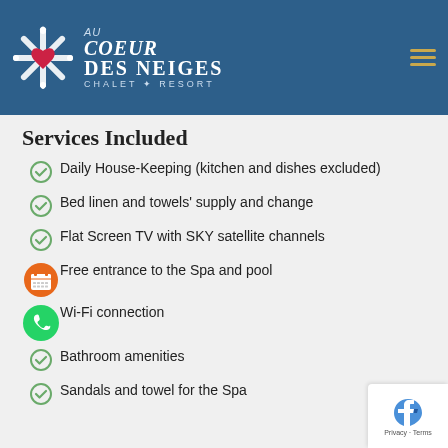All Our Services
[Figure (logo): Au Coeur Des Neiges Chalet Resort logo with snowflake icon and hamburger menu]
Services Included
Daily House-Keeping (kitchen and dishes excluded)
Bed linen and towels’ supply and change
Flat Screen TV with SKY satellite channels
Free entrance to the Spa and pool
Wi-Fi connection
Bathroom amenities
Sandals and towel for the Spa